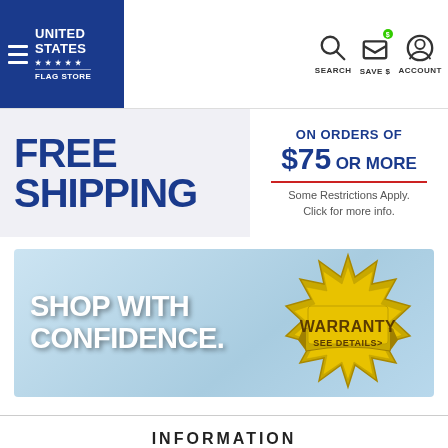United States Flag Store — SEARCH | SAVE $ | ACCOUNT
[Figure (infographic): Free Shipping on orders of $75 or more. Some Restrictions Apply. Click for more info.]
[Figure (infographic): Shop With Confidence. WARRANTY SEE DETAILS>]
INFORMATION